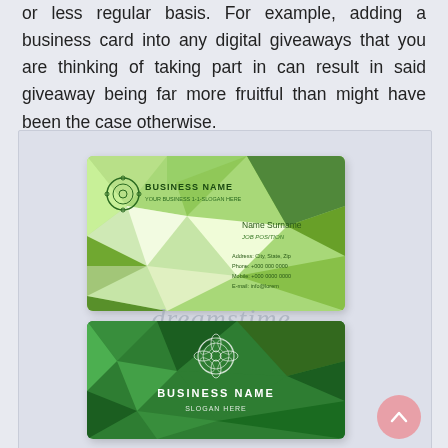or less regular basis. For example, adding a business card into any digital giveaways that you are thinking of taking part in can result in said giveaway being far more fruitful than might have been the case otherwise.
[Figure (illustration): Two green geometric low-poly business card designs. Top card has a light green polygonal background with a circular logo, 'BUSINESS NAME' text, 'YOUR BUSINESS 1-1-SLOGAN HERE', and contact details (Name Surname, JOB POSITION, Address, Phone, Mobile, E-mail). Bottom card has a dark green polygonal background with a floral circular logo, 'BUSINESS NAME', and 'SLOGAN HERE'. A 'dreamstime.' watermark overlays the center of the image.]